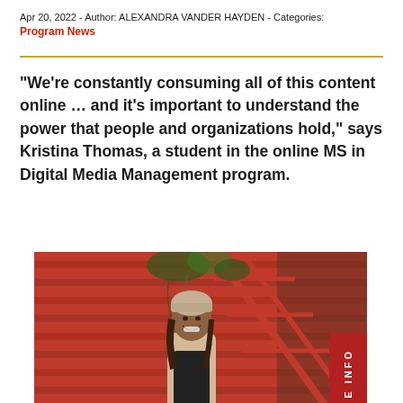Apr 20, 2022 - Author: ALEXANDRA VANDER HAYDEN - Categories: Program News
“We’re constantly consuming all of this content online … and it’s important to understand the power that people and organizations hold,” says Kristina Thomas, a student in the online MS in Digital Media Management program.
[Figure (photo): Photo of a young woman smiling, wearing a beige coat and knit hat, standing in front of a red brick building with a red metal staircase and vines.]